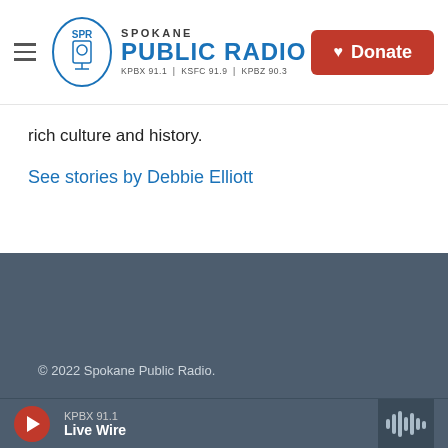Spokane Public Radio KPBX 91.1 | KSFC 91.9 | KPBZ 90.3 — Donate
rich culture and history.
See stories by Debbie Elliott
© 2022 Spokane Public Radio.
KPBX 91.1 Live Wire